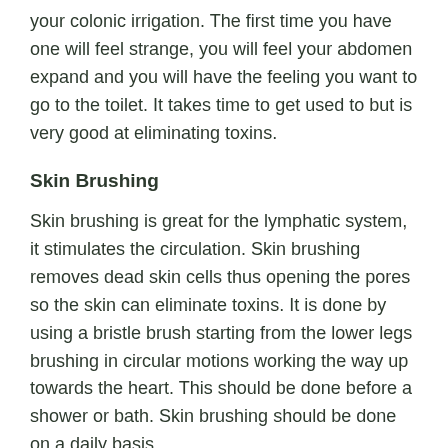your colonic irrigation. The first time you have one will feel strange, you will feel your abdomen expand and you will have the feeling you want to go to the toilet. It takes time to get used to but is very good at eliminating toxins.
Skin Brushing
Skin brushing is great for the lymphatic system, it stimulates the circulation. Skin brushing removes dead skin cells thus opening the pores so the skin can eliminate toxins. It is done by using a bristle brush starting from the lower legs brushing in circular motions working the way up towards the heart. This should be done before a shower or bath. Skin brushing should be done on a daily basis.